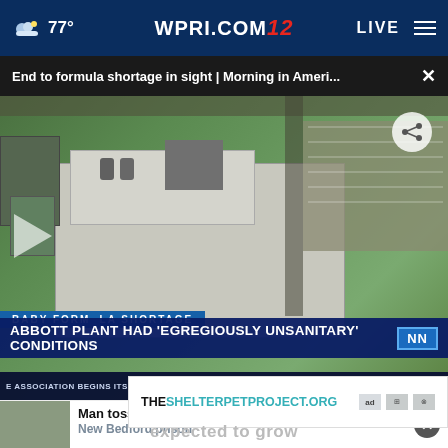77° WPRI.COM 12 LIVE
End to formula shortage in sight | Morning in Ameri... ×
[Figure (screenshot): Aerial view of Abbott plant with lower-third chyron reading 'BABY FORMULA SHORTAGE' and headline 'ABBOTT PLANT HAD EGREGIOUSLY UNSANITARY CONDITIONS' with NewsNation branding. Ticker reads 'E ASSOCIATION BEGINS ITS ANNUAL CONVENTION IN HOUSTON ON FRI  LATEST HEADLINES  NEWSNATION  7:48']
Man tossed 'suspected drugs' into New Bedford prison
THESHELTERPETPROJECT.ORG
expected to grow